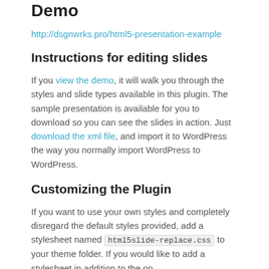Demo
http://dsgnwrks.pro/html5-presentation-example
Instructions for editing slides
If you view the demo, it will walk you through the styles and slide types available in this plugin. The sample presentation is available for you to download so you can see the slides in action. Just download the xml file, and import it to WordPress the way you normally import WordPress to WordPress.
Customizing the Plugin
If you want to use your own styles and completely disregard the default styles provided, add a stylesheet named html5slide-replace.css to your theme folder. If you would like to add a stylesheet in addition to the on…